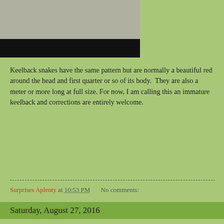[Figure (photo): Top portion of a photo showing ground texture (rocks/soil) with a black caption bar below it]
Keelback snakes have the same pattern but are normally a beautiful red around the head and first quarter or so of its body. They are also a meter or more long at full size. For now, I am calling this an immature keelback and corrections are entirely welcome.
Surprises Aplenty at 10:53 PM    No comments:
Saturday, August 27, 2016
TWIC:on writing, procrastination, maps, drum beats and titles
Evaluating your teaching of ESL writing.
Choose a short writing activity; something that